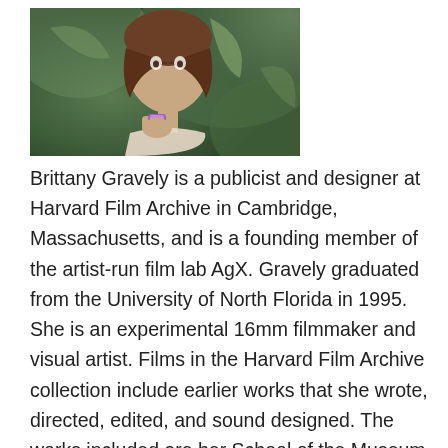[Figure (photo): Portrait photo of a person with brown hair holding or touching their wrist, surrounded by green foliage in the background.]
Brittany Gravely is a publicist and designer at Harvard Film Archive in Cambridge, Massachusetts, and is a founding member of the artist-run film lab AgX. Gravely graduated from the University of North Florida in 1995. She is an experimental 16mm filmmaker and visual artist. Films in the Harvard Film Archive collection include earlier works that she wrote, directed, edited, and sound designed. The works included are her School of the Museum of Fine Arts thesis film from 2001, Introduction to Living in a Closed System, and her ecological "horror" film Blood of the Earthworm (2006).[1]
Gravely has worked and collaborated in expanded cinema projects and installations such as Architecture of the Sun with artist Jennifer Pipp,